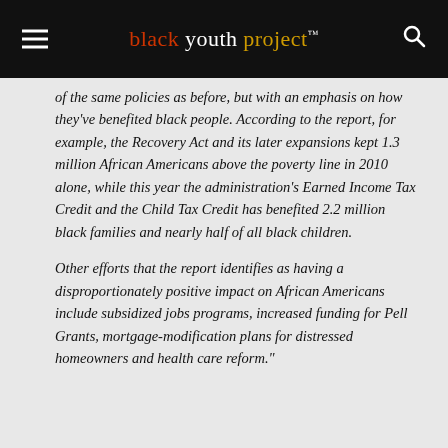black youth project™
of the same policies as before, but with an emphasis on how they've benefited black people. According to the report, for example, the Recovery Act and its later expansions kept 1.3 million African Americans above the poverty line in 2010 alone, while this year the administration's Earned Income Tax Credit and the Child Tax Credit has benefited 2.2 million black families and nearly half of all black children.

Other efforts that the report identifies as having a disproportionately positive impact on African Americans include subsidized jobs programs, increased funding for Pell Grants, mortgage-modification plans for distressed homeowners and health care reform."